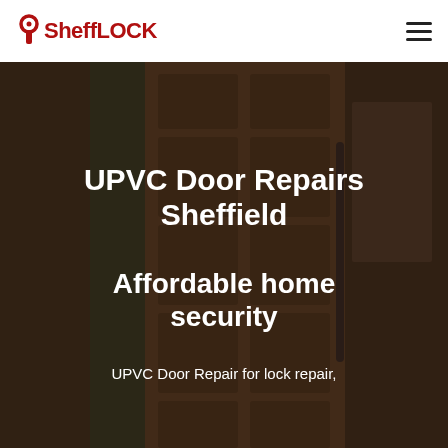SheffLOCK
UPVC Door Repairs Sheffield
Affordable home security
UPVC Door Repair for lock repair,